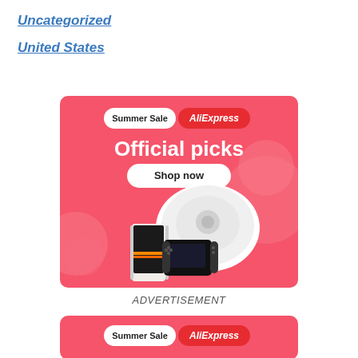Uncategorized
United States
[Figure (illustration): AliExpress Summer Sale advertisement banner with pink background. Shows 'Summer Sale AliExpress' badge at top, 'Official picks' large white text, 'Shop now' button, and product images including a robot vacuum, gaming console, and Nintendo Switch.]
ADVERTISEMENT
[Figure (illustration): Second AliExpress Summer Sale banner (partial), showing 'Summer Sale AliExpress' badge at top on pink background.]